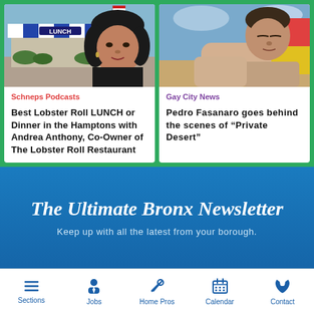[Figure (photo): Photo of a lunch restaurant with red, white, blue striped awning and a woman with dark hair overlaid in the foreground]
[Figure (photo): Photo of a young man reclining outdoors against a colorful background]
Schneps Podcasts
Best Lobster Roll LUNCH or Dinner in the Hamptons with Andrea Anthony, Co-Owner of The Lobster Roll Restaurant
Gay City News
Pedro Fasanaro goes behind the scenes of “Private Desert”
The Ultimate Bronx Newsletter
Keep up with all the latest from your borough.
Sections  Jobs  Home Pros  Calendar  Contact